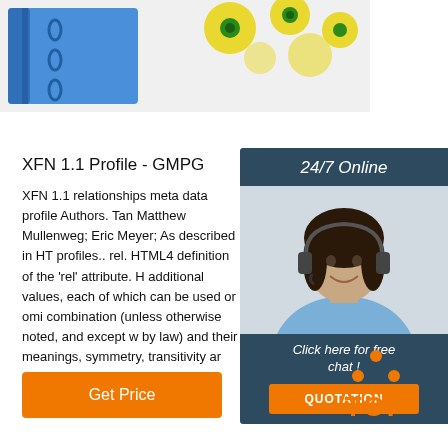[Figure (photo): Photo of blue binders/folders and yellow ear tags on white background]
24/7 Online
[Figure (photo): Woman with headset smiling - customer service representative]
Click here for free chat !
QUOTATION
XFN 1.1 Profile - GMPG
XFN 1.1 relationships meta data profile Authors. Tan Matthew Mullenweg; Eric Meyer; As described in HT profiles.. rel. HTML4 definition of the 'rel' attribute. H additional values, each of which can be used or omi combination (unless otherwise noted, and except w by law) and their meanings, symmetry, transitivity ar
Get Price
[Figure (logo): Orange TOP logo with dots arranged in triangle shape above the word TOP]